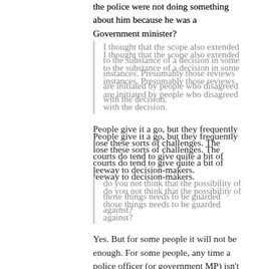the police were not doing something about him because he was a Government minister?
I thought that the scope also extended to the substance of a decision in some instances. Presumably those reviews are initiated by people who disagreed with the decision.
People give it a go, but they frequently lose these sorts of challenges. The courts do tend to give quite a bit of leeway to decision-makers.
do you not think that the possibility of those things needs to be guarded against?
Yes. But for some people it will not be enough. For some people, any time a police officer (or government MP) isn't charged over something, or an opposition MP is, they will perceive favouritism, or interference, or cowardice.
We should try to avoid both the reality of a neutered police force, and the perception of it.
Wellington, New Zealand • Since Nov 2006 • 3215 posts